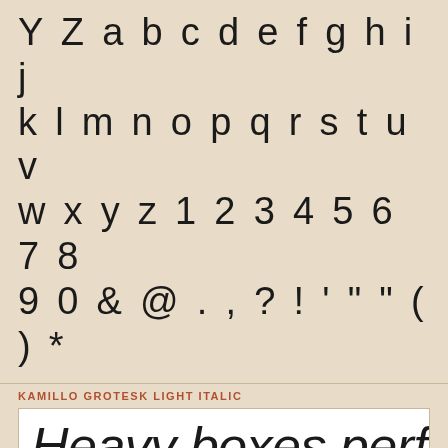Y Z a b c d e f g h i j k l m n o p q r s t u v w x y z 1 2 3 4 5 6 7 8 9 0 & @ . , ? ! ' " " ( ) *
KAMILLO GROTESK LIGHT ITALIC
[Figure (other): Font specimen box showing italic text: Heavy boxes perform qu]
TRUETYPE
Need something else? Access over 20,000+ Commercial Fonts: